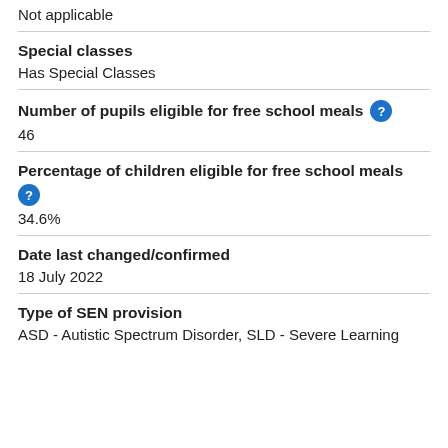Not applicable
Special classes
Has Special Classes
Number of pupils eligible for free school meals
46
Percentage of children eligible for free school meals
34.6%
Date last changed/confirmed
18 July 2022
Type of SEN provision
ASD - Autistic Spectrum Disorder, SLD - Severe Learning